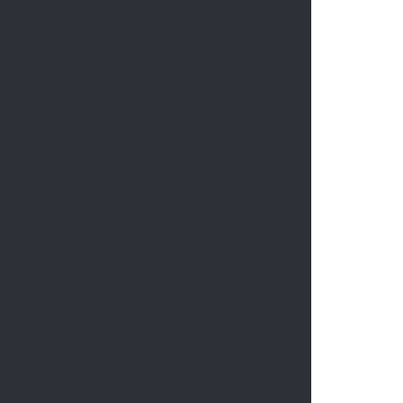[Figure (photo): Dark charcoal/dark navy colored panel occupying the left approximately 77% of the page]
Selling above as the property, pain hallmarks everyw bedroom door.